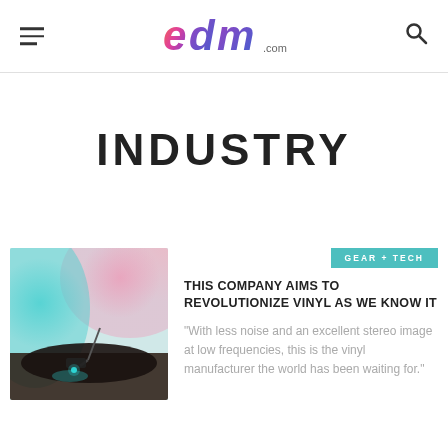edm.com
INDUSTRY
[Figure (photo): Close-up photo of a vinyl record player needle/stylus on a record, with teal and pink bokeh lighting in the background]
GEAR + TECH
THIS COMPANY AIMS TO REVOLUTIONIZE VINYL AS WE KNOW IT
"With less noise and an excellent stereo image at low frequencies, this is the vinyl manufacturer the world has been waiting for."